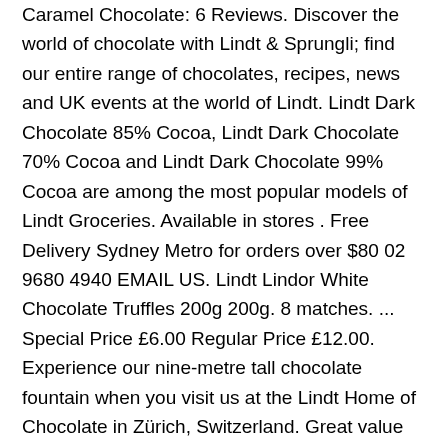Caramel Chocolate: 6 Reviews. Discover the world of chocolate with Lindt & Sprungli; find our entire range of chocolates, recipes, news and UK events at the world of Lindt. Lindt Dark Chocolate 85% Cocoa, Lindt Dark Chocolate 70% Cocoa and Lindt Dark Chocolate 99% Cocoa are among the most popular models of Lindt Groceries. Available in stores . Free Delivery Sydney Metro for orders over $80 02 9680 4940 EMAIL US. Lindt Lindor White Chocolate Truffles 200g 200g. 8 matches. ... Special Price £6.00 Regular Price £12.00. Experience our nine-metre tall chocolate fountain when you visit us at the Lindt Home of Chocolate in Zürich, Switzerland. Great value and widest selections of more than 12000 items at a click. Add Lindt Lindor Milk Chocolate Bar 100G Add add Lindt Lindor Milk Chocolate Bar 100G to basket. Lindt Lindor Valentine's Day Strawberries and Cream White Chocolate